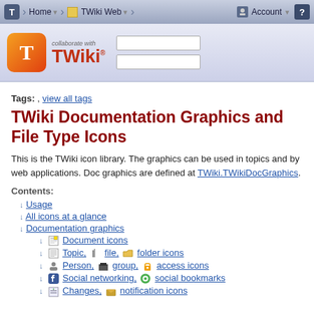T | Home | TWiki Web | Account | ?
[Figure (logo): TWiki logo with orange T icon and 'collaborate with TWiki' text, plus search boxes]
Tags: , view all tags
TWiki Documentation Graphics and File Type Icons
This is the TWiki icon library. The graphics can be used in topics and by web applications. Doc graphics are defined at TWiki.TWikiDocGraphics.
Contents:
↓ Usage
↓ All icons at a glance
↓ Documentation graphics
↓ Document icons
↓ Topic, file, folder icons
↓ Person, group, access icons
↓ Social networking, social bookmarks
↓ Changes, notification icons